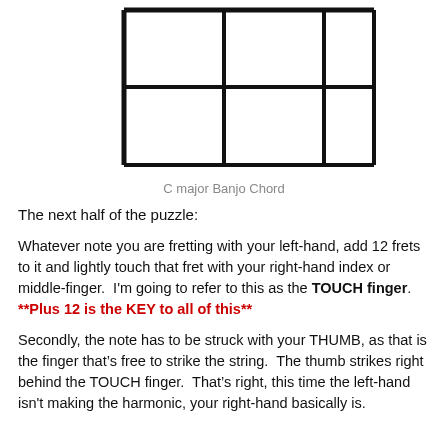[Figure (illustration): Banjo chord diagram for C major showing a fretboard grid with 3 columns and 2 rows of cells, no finger dots shown.]
C major Banjo Chord
The next half of the puzzle:
Whatever note you are fretting with your left-hand, add 12 frets to it and lightly touch that fret with your right-hand index or middle-finger.  I'm going to refer to this as the TOUCH finger.  **Plus 12 is the KEY to all of this**
Secondly, the note has to be struck with your THUMB, as that is the finger that’s free to strike the string.  The thumb strikes right behind the TOUCH finger.  That’s right, this time the left-hand isn't making the harmonic, your right-hand basically is.